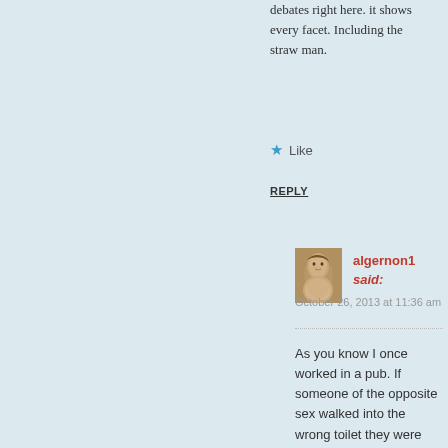debates right here. it shows every facet. Including the straw man.
Like
REPLY
[Figure (photo): Small portrait photo of user algernon1, sepia-toned historical style]
algernon1 said:
October 26, 2013 at 11:36 am
As you know I once worked in a pub. If someone of the opposite sex walked into the wrong toilet they were asked to leave. All did without resistance as they'd had too much to drink. Normally two of us escorted them to the